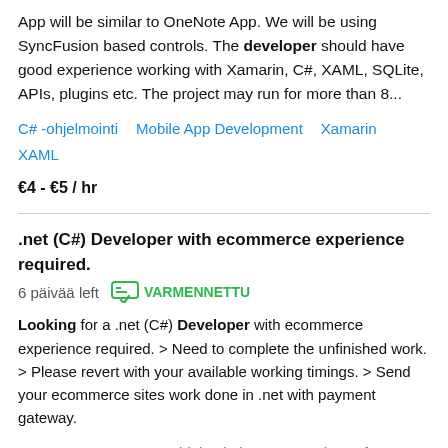App will be similar to OneNote App. We will be using SyncFusion based controls. The developer should have good experience working with Xamarin, C#, XAML, SQLite, APIs, plugins etc. The project may run for more than 8...
C# -ohjelmointi   Mobile App Development   Xamarin   XAML
€4 - €5 / hr
.net (C#) Developer with ecommerce experience required.
6 päivää left   VARMENNETTU
Looking for a .net (C#) Developer with ecommerce experience required. > Need to complete the unfinished work. > Please revert with your available working timings. > Send your ecommerce sites work done in .net with payment gateway.
.NET   ASP.NET   C# -ohjelmointi   HTML   Microsoft SQL Server